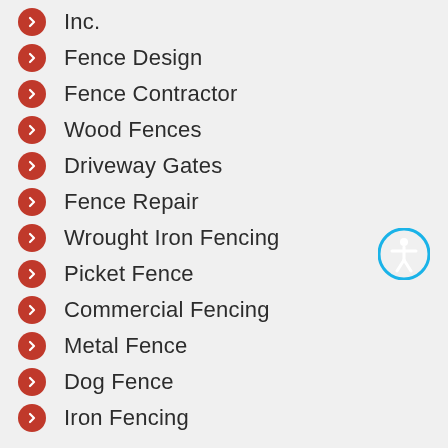Inc.
Fence Design
Fence Contractor
Wood Fences
Driveway Gates
Fence Repair
Wrought Iron Fencing
Picket Fence
Commercial Fencing
Metal Fence
Dog Fence
Iron Fencing